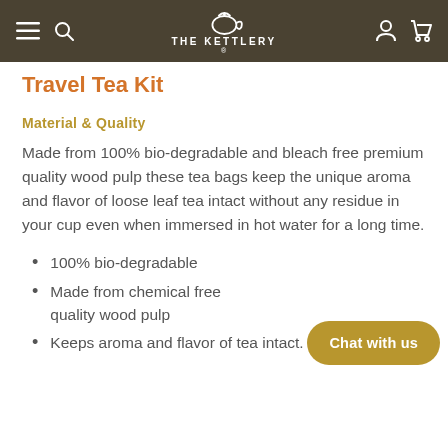THE KETTLERY
Travel Tea Kit
Material & Quality
Made from 100% bio-degradable and bleach free premium quality wood pulp these tea bags keep the unique aroma and flavor of loose leaf tea intact without any residue in your cup even when immersed in hot water for a long time.
100% bio-degradable
Made from chemical free quality wood pulp
Keeps aroma and flavor of tea intact.